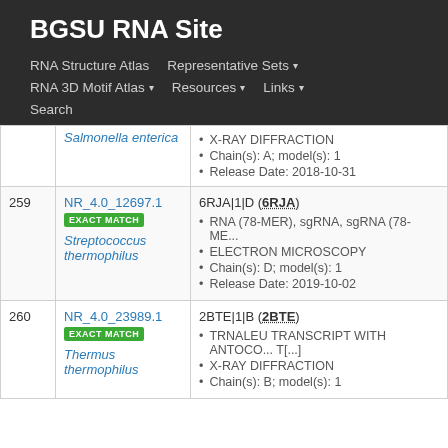BGSU RNA Site
RNA Structure Atlas | Representative Sets ▾ | RNA 3D Motif Atlas ▾ | Resources ▾ | Links ▾ | Search
| # | ID | Details |
| --- | --- | --- |
|  | NR_4.0_... Salmonella enterica | X-RAY DIFFRACTION • Chain(s): A; model(s): 1 • Release Date: 2018-10-31 |
| 259 | NR_4.0_12697.1 EXACT MATCH Streptococcus thermophilus | 6RJA|1|D (6RJA) • RNA (78-MER), sgRNA, sgRNA (78-ME... • ELECTRON MICROSCOPY • Chain(s): D; model(s): 1 • Release Date: 2019-10-02 |
| 260 | NR_4.0_23989.1 EXACT MATCH Thermus thermophilus | 2BTE|1|B (2BTE) • TRNALEU TRANSCRIPT WITH ANTOCO... T[...] • X-RAY DIFFRACTION • Chain(s): B; model(s): 1 |